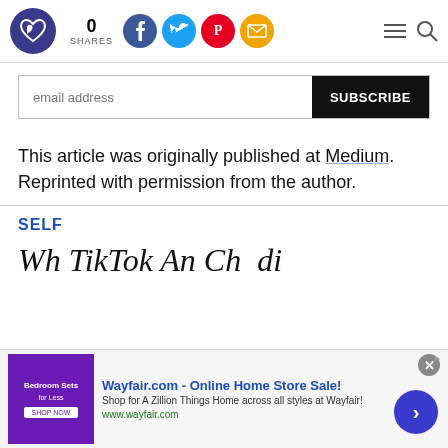0 SHARES
email address SUBSCRIBE
This article was originally published at Medium. Reprinted with permission from the author.
SELF
Wh... Tik T... An Ch... di...
[Figure (other): Advertisement banner: Wayfair.com - Online Home Store Sale! Shop for A Zillion Things Home across all styles at Wayfair! www.wayfair.com]